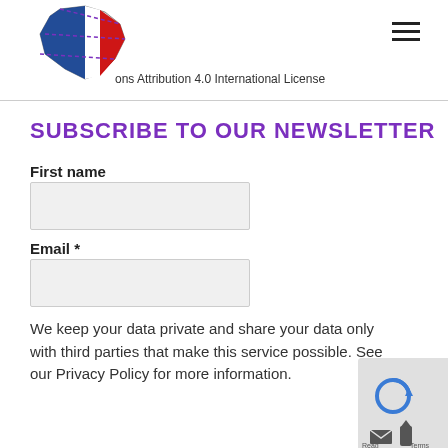[Figure (logo): France map logo with blue, white, and red colors with purple dotted border lines]
ons Attribution 4.0 International License
SUBSCRIBE TO OUR NEWSLETTER
First name
Email *
We keep your data private and share your data only with third parties that make this service possible. See our Privacy Policy for more information.